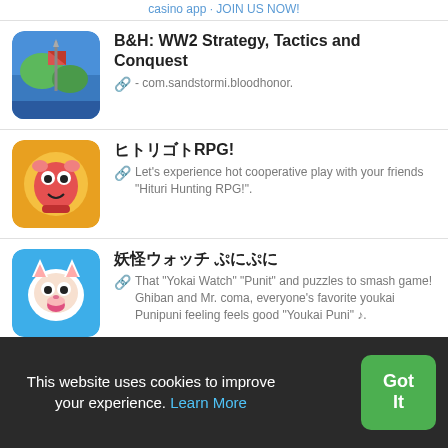casino app · JOIN US NOW!
B&H: WW2 Strategy, Tactics and Conquest - com.sandstormi.bloodhonor.
ヒトリゴトRPG! Let's experience hot cooperative play with your friends "Hituri Hunting RPG!".
妖怪ウォッチ ぷにぷに That "Yokai Watch" "Punit" and puzzles to smash game! Ghiban and Mr. coma, everyone's favorite youkai Punipuni feeling feels good "Youkai Puni" ♪.
Onlife: Life Simulator Game - A Life Simulator Game.
⊞ All
This website uses cookies to improve your experience. Learn More Got It